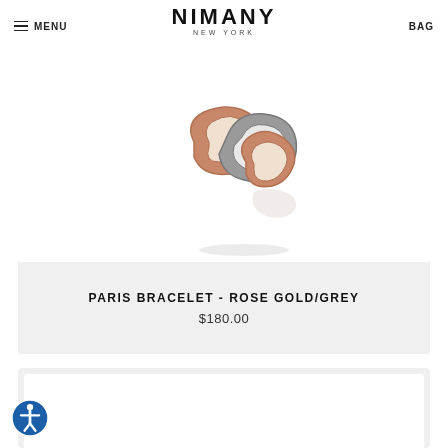MENU | NIMANY NEW YORK | BAG
[Figure (photo): Paris Bracelet in Rose Gold/Grey — partial view of interlocking rose gold and grey chain links against white background]
PARIS BRACELET - ROSE GOLD/GREY
$180.00
[Figure (photo): Second product card with white inner box, partially visible at the bottom of the page]